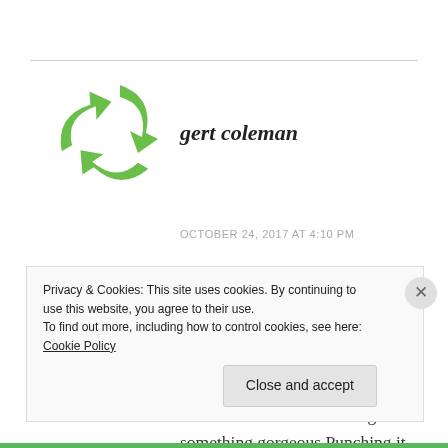[Figure (illustration): Green swirling arrow/recycling symbol logo avatar for user gert coleman]
gert coleman
OCTOBER 24, 2017 AT 4:10 PM
Breads! I love breads: making breads, baking breads, eating breads. Aah: The scent, the delightful tactile experience of kneading dough, and the miraculous rise of that dough into something gorgeous Punching it down, too! I spent a week at
Privacy & Cookies: This site uses cookies. By continuing to use this website, you agree to their use.
To find out more, including how to control cookies, see here: Cookie Policy
Close and accept